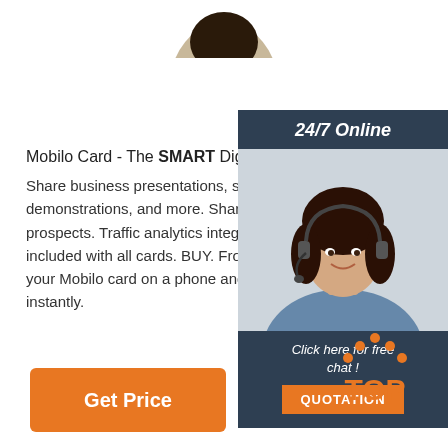[Figure (photo): Partial circular photo at top center showing person's head/face]
Mobilo Card - The SMART Digital Business Card
Share business presentations, sign-up forms, product demonstrations, and more. Share online resources with prospects. Traffic analytics integrations available. These are included with all cards. BUY. From: $7. Digital Business Card - tap your Mobilo card on a phone and your contact details are saved instantly.
[Figure (photo): 24/7 Online customer support panel showing a woman with headset and chat/quotation call to action]
[Figure (logo): TOP logo with orange dots forming a triangle above the word TOP in orange]
Get Price